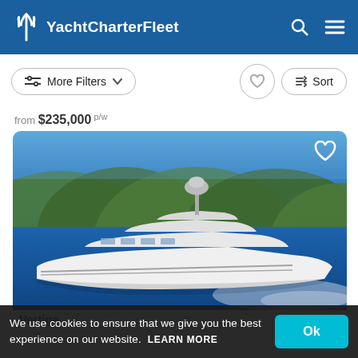YachtCharterFleet
More Filters
from $235,000 p/w
[Figure (photo): Aerial view of a large white luxury motor yacht cruising on blue water with green hills in the background]
We use cookies to ensure that we give you the best experience on our website. LEARN MORE Ok
Vertige